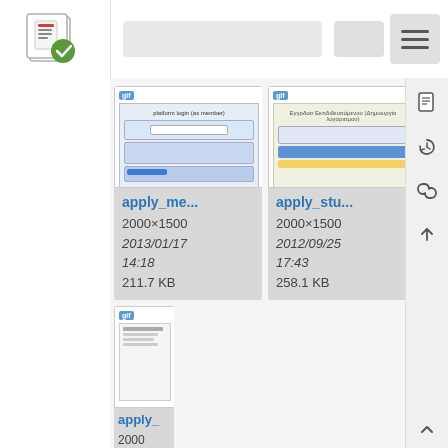[Figure (screenshot): Web application interface showing a file/media manager with a logo in the top-left, navigation bar, and a grid of image/document thumbnails with filenames apply_me..., apply_stu..., apply... and metadata showing 2000x1500, dates and file sizes]
apply_me...
2000×1500
2013/01/17 14:18
211.7 KB
apply_stu...
2000×1500
2012/09/25 17:43
258.1 KB
apply_stu...
2000×1500
apply_stu...
2000×1500
apply_stu...
2000